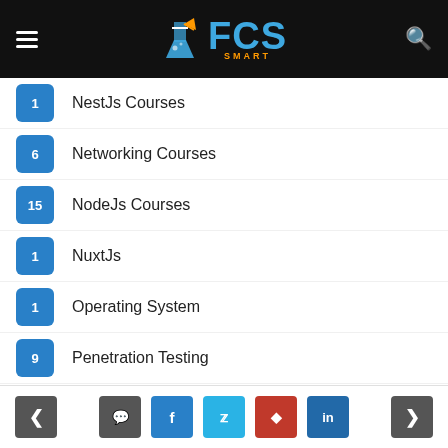FCS Smart — navigation header with logo, hamburger menu, and search icon
1  NestJs Courses
6  Networking Courses
15  NodeJs Courses
1  NuxtJs
1  Operating System
9  Penetration Testing
1  Personal Development
1  Personal Development Courses
16  Photo and Video Editors
8  Photoshop
< (prev) | comment | facebook | twitter | pinterest | linkedin | (next) >